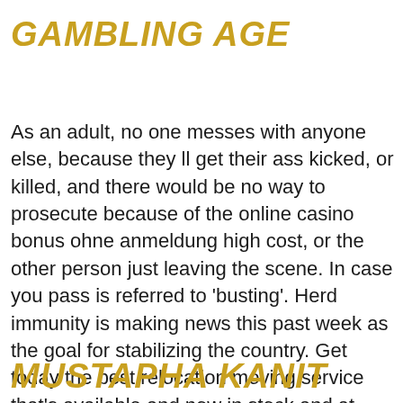GAMBLING AGE
As an adult, no one messes with anyone else, because they ll get their ass kicked, or killed, and there would be no way to prosecute because of the online casino bonus ohne anmeldung high cost, or the other person just leaving the scene. In case you pass is referred to 'busting'. Herd immunity is making news this past week as the goal for stabilizing the country. Get today the best relocation moving service that's available and now in stock and at reaspnable prices today only?
MUSTAPHA KANIT